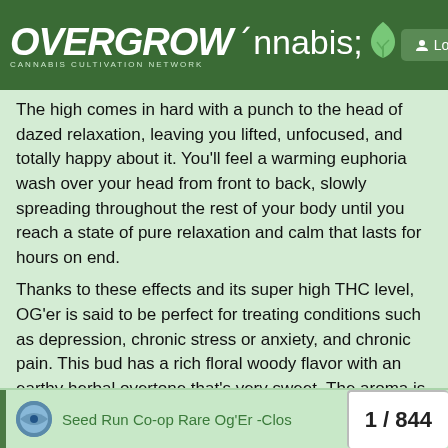OVERGROW CANNABIS CULTIVATION NETWORK | Log In
The high comes in hard with a punch to the head of dazed relaxation, leaving you lifted, unfocused, and totally happy about it. You'll feel a warming euphoria wash over your head from front to back, slowly spreading throughout the rest of your body until you reach a state of pure relaxation and calm that lasts for hours on end. Thanks to these effects and its super high THC level, OG'er is said to be perfect for treating conditions such as depression, chronic stress or anxiety, and chronic pain. This bud has a rich floral woody flavor with an earthy herbal overtone that's very sweet. The aroma is earthy and flowery with a hint of fruity pine and rich earth as the nugs are burned. OG'er buds have spade-shaped forest green nugs with bright orange hairs and a thick frosty coating of sandy amber crystal trichomes.
Some background info from the 2020 Co-op seed run, information originally posted by @craigson15
Seed Run Co-op Rare Og'Er -Clos... | 1 / 844